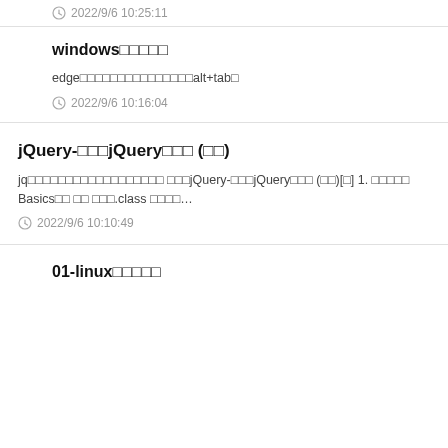2022/9/6 10:25:11
windows□□□□□
edge□□□□□□□□□□□□□□□alt+tab□
2022/9/6 10:16:04
jQuery-□□□jQuery□□□ (□□)
jq□□□□□□□□□□□□□□□□□□ □□□jQuery-□□□jQuery□□□ (□□)[□] 1. □□□□□ Basics□□ □□ □□□.class □□□□…
2022/9/6 10:10:49
01-linux□□□□□